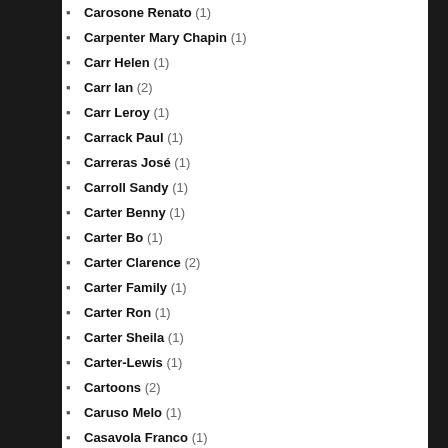Carosone Renato (1)
Carpenter Mary Chapin (1)
Carr Helen (1)
Carr Ian (2)
Carr Leroy (1)
Carrack Paul (1)
Carreras José (1)
Carroll Sandy (1)
Carter Benny (1)
Carter Bo (1)
Carter Clarence (2)
Carter Family (1)
Carter Ron (1)
Carter Sheila (1)
Carter-Lewis (1)
Cartoons (2)
Caruso Melo (1)
Casavola Franco (1)
Casella Alfredo (1)
Caselli Caterina (1)
Casey Jones & The Governors (1)